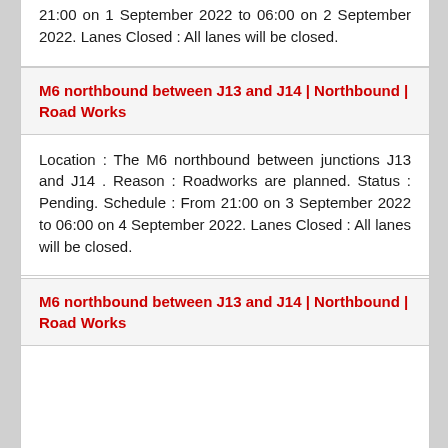21:00 on 1 September 2022 to 06:00 on 2 September 2022. Lanes Closed : All lanes will be closed.
M6 northbound between J13 and J14 | Northbound | Road Works
Location : The M6 northbound between junctions J13 and J14 . Reason : Roadworks are planned. Status : Pending. Schedule : From 21:00 on 3 September 2022 to 06:00 on 4 September 2022. Lanes Closed : All lanes will be closed.
M6 northbound between J13 and J14 | Northbound | Road Works